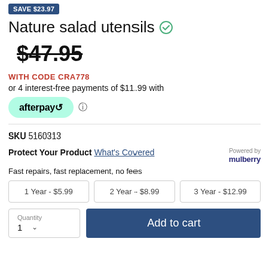SAVE $23.97
Nature salad utensils
$47.95
WITH CODE CRA778
or 4 interest-free payments of $11.99 with
[Figure (logo): Afterpay logo button in mint green rounded pill shape]
SKU 5160313
Protect Your Product What's Covered
Fast repairs, fast replacement, no fees
1 Year - $5.99
2 Year - $8.99
3 Year - $12.99
Quantity 1
Add to cart